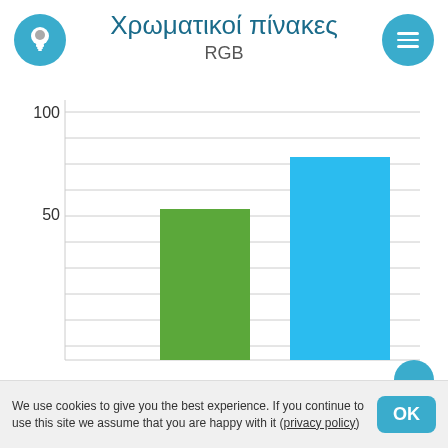Χρωματικοί πίνακες
RGB
[Figure (bar-chart): RGB]
We use cookies to give you the best experience. If you continue to use this site we assume that you are happy with it (privacy policy)